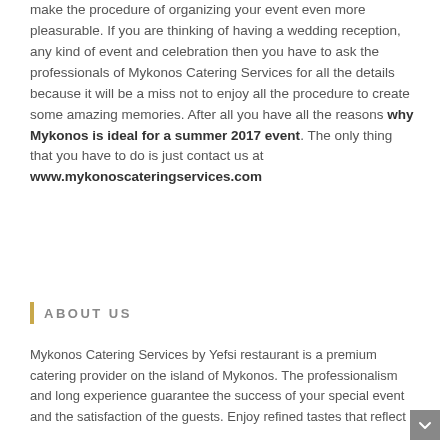make the procedure of organizing your event even more pleasurable. If you are thinking of having a wedding reception, any kind of event and celebration then you have to ask the professionals of Mykonos Catering Services for all the details because it will be a miss not to enjoy all the procedure to create some amazing memories. After all you have all the reasons why Mykonos is ideal for a summer 2017 event. The only thing that you have to do is just contact us at www.mykonoscateringservices.com
ABOUT US
Mykonos Catering Services by Yefsi restaurant is a premium catering provider on the island of Mykonos. The professionalism and long experience guarantee the success of your special event and the satisfaction of the guests. Enjoy refined tastes that reflect